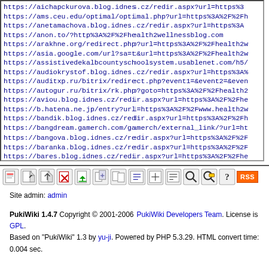https://aichapckurova.blog.idnes.cz/redir.aspx?url=https%3...
https://ams.ceu.edu/optimal/optimal.php?url=https%3A%2F%2Fh...
https://anetamachova.blog.idnes.cz/redir.aspx?url=https%3A...
https://anon.to/?http%3A%2F%2Fhealth2wellnessblog.com
https://arakhne.org/redirect.php?url=https%3A%2F%2Fhealth2w...
https://asia.google.com/url?sa=t&url=https%3A%2F%2Fhealth2w...
https://assistivedekalbcountyschoolsystem.usablenet.com/h5/...
https://audiokrystof.blog.idnes.cz/redir.aspx?url=https%3A%...
https://auditxp.ru/bitrix/redirect.php?event1=&event2=&even...
https://autogur.ru/bitrix/rk.php?goto=https%3A%2F%2Fhealth2...
https://aviou.blog.idnes.cz/redir.aspx?url=https%3A%2F%2Fhe...
https://b.hatena.ne.jp/entry?url=https%3A%2F%2Fwww.health2w...
https://bandik.blog.idnes.cz/redir.aspx?url=https%3A%2F%2Fh...
https://bangdream.gamerch.com/gamerch/external_link/?url=ht...
https://bangova.blog.idnes.cz/redir.aspx?url=https%3A%2F%2F...
https://baranka.blog.idnes.cz/redir.aspx?url=https%3A%2F%2F...
https://bares.blog.idnes.cz/redir.aspx?url=https%3A%2F%2Fhe...
https://barysh.org/bitrix/rk.php?id=14&goto=https%3A%2F%2Fh...
https://bcbstagenttraining.articulate-online.com/ResetPassw...
https://bcdairy.ca/dairyfarmers/index?URL=https%3A%2F%2Fhea...
https://berezovo.ru/bitrix/redirect.php?event1=&event2=&eve...
https://bio2rdf.org/describe/?url=https%3A%2F%2Fhealth2well...
[Figure (other): PukiWiki toolbar icons row including edit, new, rename, delete, save, attach, copy, diff, list, link, search, recent, help buttons and RSS badge]
Site admin: admin
PukiWiki 1.4.7 Copyright © 2001-2006 PukiWiki Developers Team. License is GPL.
Based on "PukiWiki" 1.3 by yu-ji. Powered by PHP 5.3.29. HTML convert time: 0.004 sec.